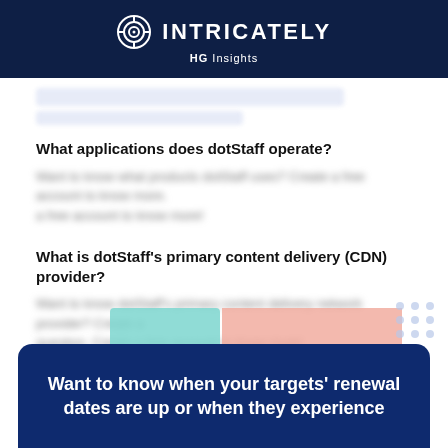INTRICATELY HG Insights
What applications does dotStaff operate?
[blurred/redacted answer text]
What is dotStaff's primary content delivery (CDN) provider?
[blurred/redacted answer text]
[Figure (other): Partially visible horizontal bar or donut chart with teal and pink/salmon colored segments]
Want to know when your targets' renewal dates are up or when they experience